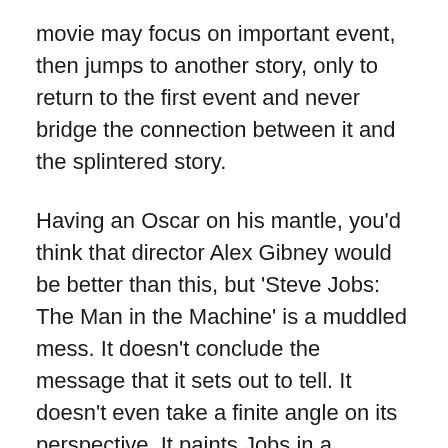movie may focus on important event, then jumps to another story, only to return to the first event and never bridge the connection between it and the splintered story.
Having an Oscar on his mantle, you'd think that director Alex Gibney would be better than this, but 'Steve Jobs: The Man in the Machine' is a muddled mess. It doesn't conclude the message that it sets out to tell. It doesn't even take a finite angle on its perspective. It paints Jobs in a praiseworthy light at times, only to go back on itself by tossing slanderish acuisation against him. It's wishy-washy. There's no direction in its narrative. Instead, it tells whatever random and disconnected Steve Jobs stories that its third-tier characters just-so-happened to be around